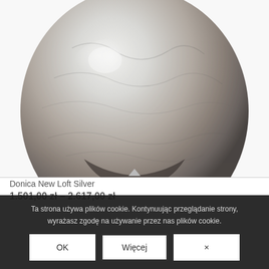[Figure (photo): A large rounded vase or planter with a hammered metallic silver/grey finish, sitting on a white background. The vessel is spherical/ovoid in shape with a textured surface that reflects light.]
Donica New Loft Silver
1.501,00 zł – 2.617,00 zł
Ta strona używa plików cookie. Kontynuując przeglądanie strony, wyrażasz zgodę na używanie przez nas plików cookie.
OK
Więcej
×